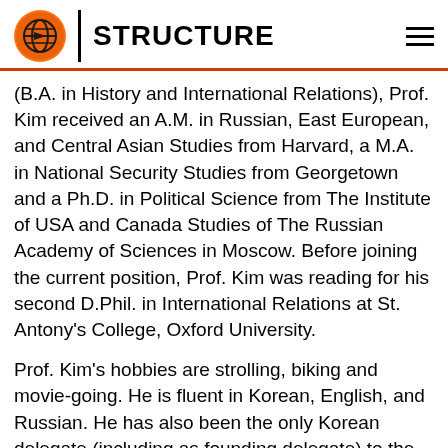STRUCTURE
(B.A. in History and International Relations), Prof. Kim received an A.M. in Russian, East European, and Central Asian Studies from Harvard, a M.A. in National Security Studies from Georgetown and a Ph.D. in Political Science from The Institute of USA and Canada Studies of The Russian Academy of Sciences in Moscow. Before joining the current position, Prof. Kim was reading for his second D.Phil. in International Relations at St. Antony's College, Oxford University.
Prof. Kim's hobbies are strolling, biking and movie-going. He is fluent in Korean, English, and Russian. He has also been the only Korean delegate (including as founding delegate) to the Shangri- La Dialogue in Singapore for five consecutive years (2002-6, and as guest to its affiliated, 2,007 internal Forum), which brings together, as the first and only meeting of its kind in the region, all defense ministers, intelligence chiefs, CEOs of the defense-industrial complex and most recognized defense intellectuals from the European Union,